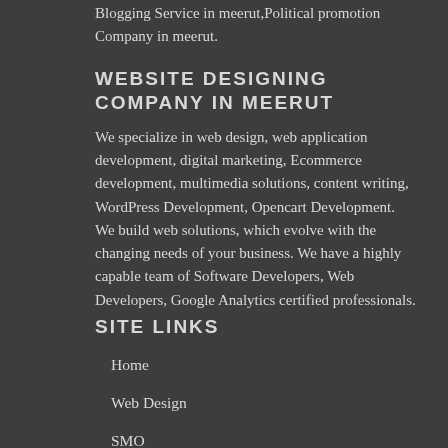Blogging Service in meerut,Political promotion Company in meerut.
WEBSITE DESIGNING COMPANY IN MEERUT
We specialize in web design, web application development, digital marketing, Ecommerce development, multimedia solutions, content writing, WordPress Development, Opencart Development. We build web solutions, which evolve with the changing needs of your business. We have a highly capable team of Software Developers, Web Developers, Google Analytics certified professionals.
SITE LINKS
Home
Web Design
SMO
SEO